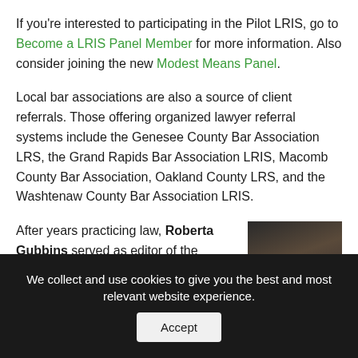If you're interested to participating in the Pilot LRIS, go to Become a LRIS Panel Member for more information. Also consider joining the new Modest Means Panel.
Local bar associations are also a source of client referrals. Those offering organized lawyer referral systems include the Genesee County Bar Association LRS, the Grand Rapids Bar Association LRIS, Macomb County Bar Association, Oakland County LRS, and the Washtenaw County Bar Association LRIS.
After years practicing law, Roberta Gubbins served as editor of the
[Figure (photo): Partial photo of a person (Roberta Gubbins) against a dark background, showing top of head and shoulders]
We collect and use cookies to give you the best and most relevant website experience.